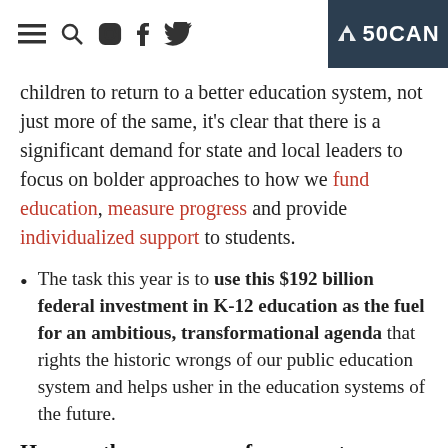Navigation icons and 50CAN logo
children to return to a better education system, not just more of the same, it's clear that there is a significant demand for state and local leaders to focus on bolder approaches to how we fund education, measure progress and provide individualized support to students.
The task this year is to use this $192 billion federal investment in K-12 education as the fuel for an ambitious, transformational agenda that rights the historic wrongs of our public education system and helps usher in the education systems of the future.
Harness the new wave of grassroots energy for